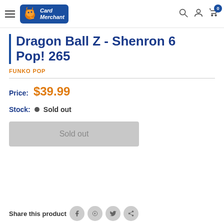Card Merchant — navigation bar with hamburger menu, logo, search, account, and cart (0 items)
Dragon Ball Z - Shenron 6 Pop! 265
FUNKO POP
Price: $39.99
Stock: Sold out
Sold out
Share this product